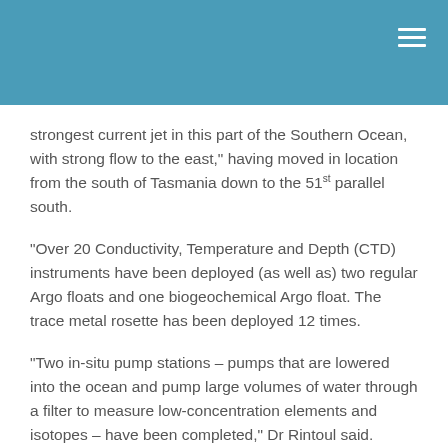strongest current jet in this part of the Southern Ocean, with strong flow to the east," having moved in location from the south of Tasmania down to the 51st parallel south.
"Over 20 Conductivity, Temperature and Depth (CTD) instruments have been deployed (as well as) two regular Argo floats and one biogeochemical Argo float. The trace metal rosette has been deployed 12 times.
"Two in-situ pump stations – pumps that are lowered into the ocean and pump large volumes of water through a filter to measure low-concentration elements and isotopes – have been completed," Dr Rintoul said.
On the horizon